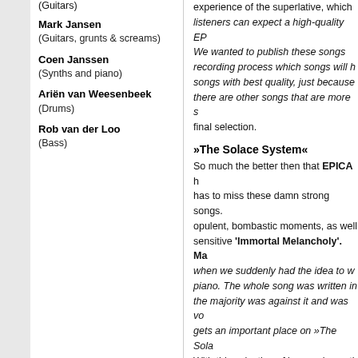(Guitars)
Mark Jansen
(Guitars, grunts & screams)
Coen Janssen
(Synths and piano)
Ariën van Weesenbeek
(Drums)
Rob van der Loo
(Bass)
experience of the superlative, which listeners can expect a high-quality EP. We wanted to publish these songs recording process which songs will songs with best quality, just because there are other songs that are more s final selection.
»The Solace System«
So much the better then that EPICA has to miss these damn strong songs opulent, bombastic moments, as well sensitive 'Immortal Melancholy'. Ma when we suddenly had the idea to w piano. The whole song was written in the majority was against it and was vo gets an important place on »The Sola With this selection of impressive anth Mark? "Yes, I think so," the charis the reactions to the EP as soon as it set - but, of course, we are focusin EPICA! You won't be disappointed.
Videos
[Figure (screenshot): Video thumbnail showing EPICA - Decode with a circular logo on dark background with decorative imagery below]